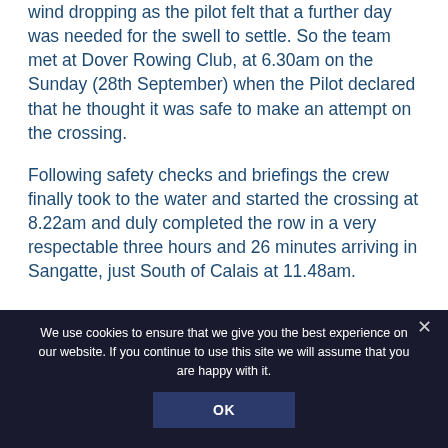wind dropping as the pilot felt that a further day was needed for the swell to settle. So the team met at Dover Rowing Club, at 6.30am on the Sunday (28th September) when the Pilot declared that he thought it was safe to make an attempt on the crossing.
Following safety checks and briefings the crew finally took to the water and started the crossing at 8.22am and duly completed the row in a very respectable three hours and 26 minutes arriving in Sangatte, just South of Calais at 11.48am.
We use cookies to ensure that we give you the best experience on our website. If you continue to use this site we will assume that you are happy with it.
OK